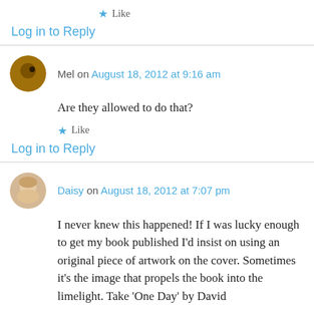★ Like
Log in to Reply
Mel on August 18, 2012 at 9:16 am
Are they allowed to do that?
★ Like
Log in to Reply
Daisy on August 18, 2012 at 7:07 pm
I never knew this happened! If I was lucky enough to get my book published I'd insist on using an original piece of artwork on the cover. Sometimes it's the image that propels the book into the limelight. Take 'One Day' by David